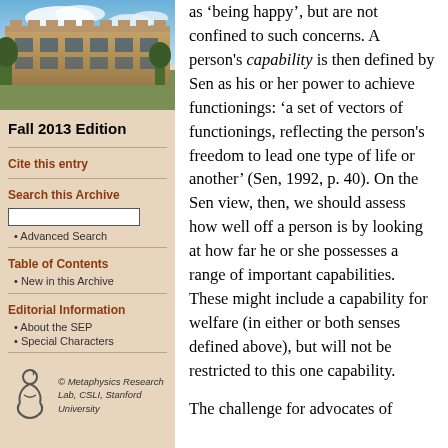[Figure (photo): Photograph of a historic university building (sandstone architecture) with blue sky and clouds]
Fall 2013 Edition
Cite this entry
Search this Archive
Advanced Search
Table of Contents
New in this Archive
Editorial Information
About the SEP
Special Characters
[Figure (logo): Metaphysics Research Lab, CSLI, Stanford University logo with stylized figure symbol]
as ‘being happy’, but are not confined to such concerns. A person's capability is then defined by Sen as his or her power to achieve functionings: ‘a set of vectors of functionings, reflecting the person's freedom to lead one type of life or another’ (Sen, 1992, p. 40). On the Sen view, then, we should assess how well off a person is by looking at how far he or she possesses a range of important capabilities. These might include a capability for welfare (in either or both senses defined above), but will not be restricted to this one capability.
The challenge for advocates of